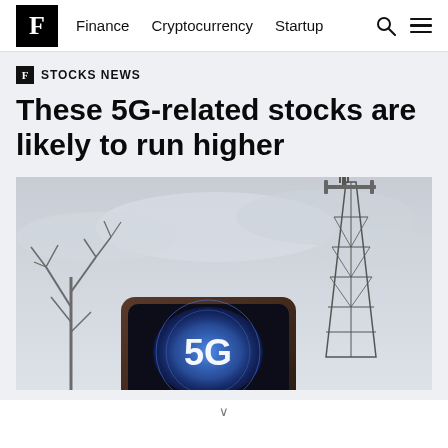F  Finance  Cryptocurrency  Startup
F STOCKS NEWS
These 5G-related stocks are likely to run higher
[Figure (photo): A hand holding a smartphone displaying a 5G logo/screen, with bare winter trees and a telecommunications tower visible in the cloudy sky background.]